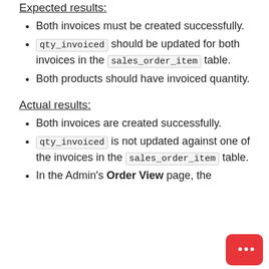Expected results:
Both invoices must be created successfully.
qty_invoiced should be updated for both invoices in the sales_order_item table.
Both products should have invoiced quantity.
Actual results:
Both invoices are created successfully.
qty_invoiced is not updated against one of the invoices in the sales_order_item table.
In the Admin's Order View page, the